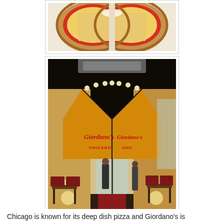[Figure (photo): Close-up overhead photo of a deep dish pizza cut in half, showing the thick crust and cheese filling, on a white surface]
[Figure (photo): Interior of Giordano's Chicago restaurant showing the dining room looking toward the entrance, with large Giordano's branded hanging lampshades, pendant lights, wooden tables and chairs, and staff members visible]
Chicago is known for its deep dish pizza and Giordano's is